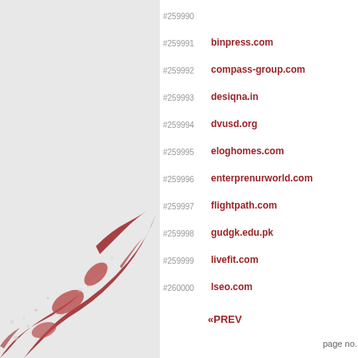#259990
#259991 binpress.com
#259992 compass-group.com
#259993 desiqna.in
#259994 dvusd.org
#259995 eloghomes.com
#259996 enterprenurworld.com
#259997 flightpath.com
#259998 gudgk.edu.pk
#259999 livefit.com
#260000 lseo.com
«PREV
[Figure (illustration): Decorative red and grey floral/scroll ornamental design in bottom-left corner]
page no. 260   0